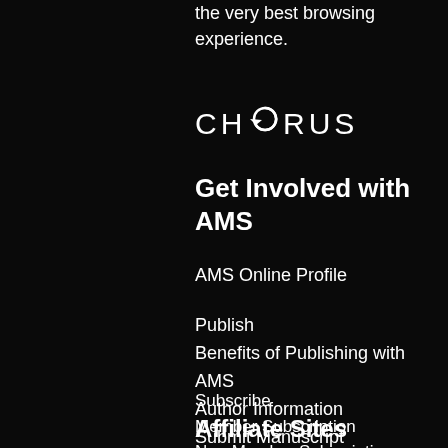the very best browsing experience.
[Figure (logo): CHORUS logo with circular arrow icon]
Get Involved with AMS
AMS Online Profile
Publish
Benefits of Publishing with AMS
Author Information
Submit Manuscript
Subscribe
Member Subscription
Non-Member Subscriptions
Institutional Subscriptions
Affiliate Sites